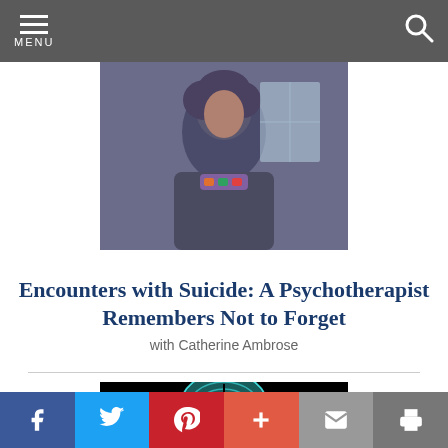MENU
[Figure (photo): Photo of a woman with curly hair wearing a dark turtleneck, appearing to be indoors.]
Encounters with Suicide: A Psychotherapist Remembers Not to Forget
with Catherine Ambrose
[Figure (illustration): Teal/cyan colored human head silhouette with concentric maze-like pattern inside the brain area, on a black background.]
f  Twitter  Pinterest  +  Email  Print